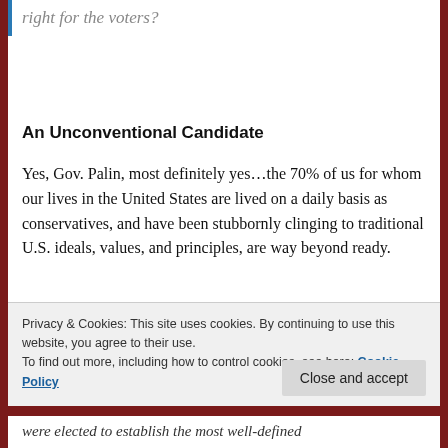right for the voters?
An Unconventional Candidate
Yes, Gov. Palin, most definitely yes…the 70% of us for whom our lives in the United States are lived on a daily basis as conservatives, and have been stubbornly clinging to traditional U.S. ideals, values, and principles, are way beyond ready.
Privacy & Cookies: This site uses cookies. By continuing to use this website, you agree to their use.
To find out more, including how to control cookies, see here: Cookie Policy
Close and accept
were elected to establish the most well-defined